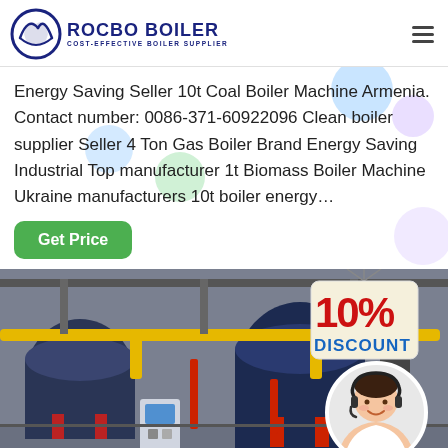[Figure (logo): Rocbo Boiler logo with circular icon and text 'ROCBO BOILER' and subtitle 'COST-EFFECTIVE BOILER SUPPLIER']
Energy Saving Seller 10t Coal Boiler Machine Armenia. Contact number: 0086-371-60922096 Clean boiler supplier Seller 4 Ton Gas Boiler Brand Energy Saving Industrial Top manufacturer 1t Biomass Boiler Machine Ukraine manufacturers 10t boiler energy…
[Figure (other): Green 'Get Price' button]
[Figure (photo): Industrial boiler facility showing multiple large cylindrical boilers with yellow pipes, red components, and industrial equipment. A '10% DISCOUNT' badge is shown in the top right corner. A customer service agent in a white circular frame is in the bottom right. '7X24 Online' label appears at the bottom.]